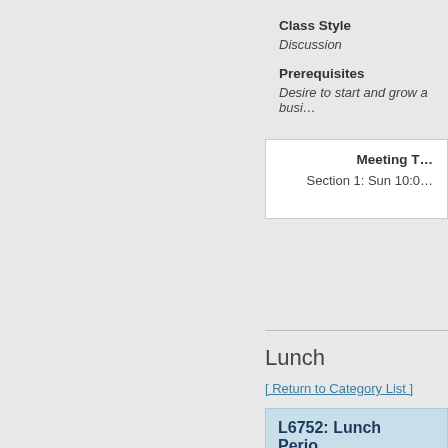Class Style
Discussion
Prerequisites
Desire to start and grow a busi…
Meeting T…
Section 1: Sun 10:0…
Lunch
[ Return to Category List ]
L6752: Lunch Perio…
Difficulty: